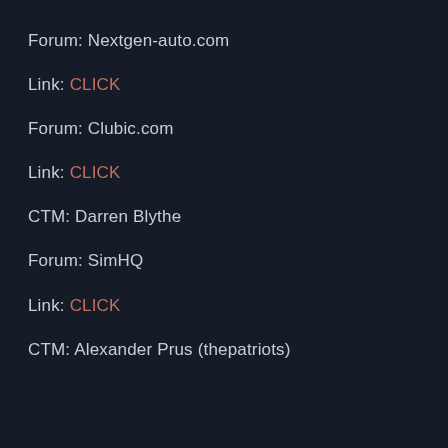Forum: Nextgen-auto.com
Link: CLICK
Forum: Clubic.com
Link: CLICK
CTM: Darren Blythe
Forum: SimHQ
Link: CLICK
CTM: Alexander Prus (thepatriots)